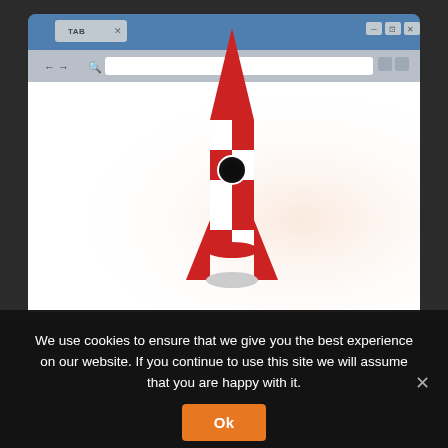[Figure (illustration): A 3D cartoon-style red and white checkered rocket ship standing upright in front of a browser window displayed on a dark chalkboard background. The browser window has a blue titlebar with a tab labeled TAB, an address bar with navigation arrows and a search field, and a white/light pink content area.]
We use cookies to ensure that we give you the best experience on our website. If you continue to use this site we will assume that you are happy with it.